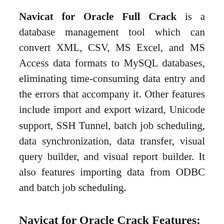Navicat for Oracle Full Crack is a database management tool which can convert XML, CSV, MS Excel, and MS Access data formats to MySQL databases, eliminating time-consuming data entry and the errors that accompany it. Other features include import and export wizard, Unicode support, SSH Tunnel, batch job scheduling, data synchronization, data transfer, visual query builder, and visual report builder. It also features importing data from ODBC and batch job scheduling.
Navicat for Oracle Crack Features:
Seamless Data Migration